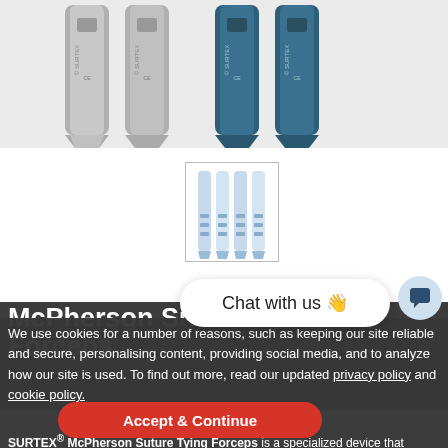[Figure (photo): Four surgical forceps shown from above against a light gray background. Two on the left are silver/gray colored, two on the right are dark blue/teal colored. All have SURTEX branding visible and CE marking. They are narrow, elongated instruments.]
[Figure (photo): Thumbnail image showing four McPherson suture tying forceps in light blue/translucent appearance, displayed side by side.]
Chat with us 👋
McPherson Suture Tying Forceps
We use cookies for a number of reasons, such as keeping our site reliable and secure, personalising content, providing social media, and to analyze how our site is used. To find out more, read our updated privacy policy and cookie policy.
Accept & Continue
SURTEX® McPherson Suture Tying Forceps is a specialized device that ophthalmic surgeons use to manipulate delicate tissues, minute needles and sutures, and IOLs in certain surgical cases.